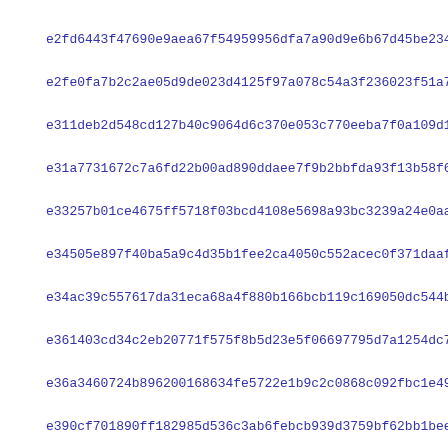e2fd6443f47690e9aea67f54959956dfa7a90d9e6b67d45be234e258e932d
e2fe0fa7b2c2ae05d9de023d4125f97a078c54a3f236023f51a7ebe687372
e311deb2d548cd127b40c9064d6c370e053c770eeba7f0a109d114d13d4e8
e31a7731672c7a6fd22b00ad890ddaee7f9b2bbfda93f13b58f6ff870006f
e33257b01ce4675ff5718f03bcd4108e5698a93bc3239a24e0aa3b7c2d625
e34505e897f40ba5a9c4d35b1fee2ca4050c552acec0f371daaf6a2d22a64
e34ac39c557617da31eca68a4f880b166bcb119c169050dc544b1aa4c6d35
e361403cd34c2eb20771f575f8b5d23e5f06697795d7a1254dc7cd882bd36
e36a3460724b896200168634fe5722e1b9c2c0868c092fbc1e499cb84aa98
e390cf701890ff182985d536c3ab6febcb939d3759bf62bb1beef2238574c